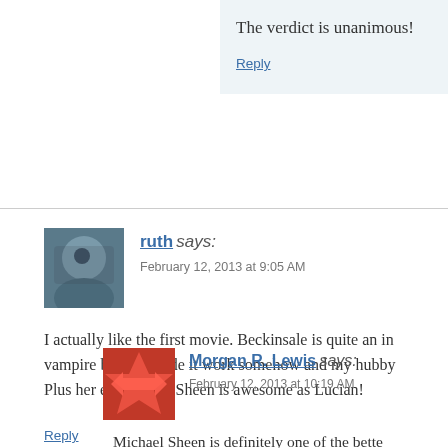The verdict is unanimous!
Reply
ruth says:
February 12, 2013 at 9:05 AM
I actually like the first movie. Beckinsale is quite an in... vampire but she made it work somehow and my hubby... Plus her ex Michael Sheen is awesome as Lucian!
Reply
Morgan R. Lewis says:
February 12, 2013 at 10:19 AM
Michael Sheen is definitely one of the bette...
Beckinsale isn't bad, and certainly looks go...